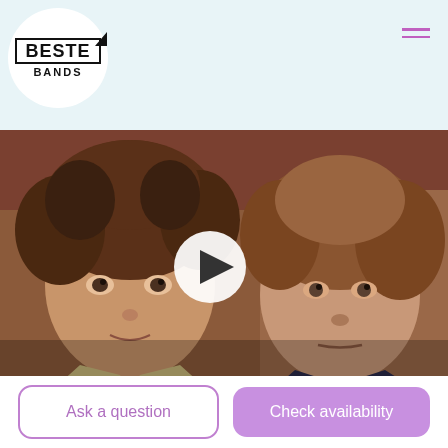Beste Bands
[Figure (photo): Two young men with curly/wavy brown hair posing in a warm brownish-toned photo, with a play button overlay indicating a video thumbnail. Band promotional photo for Steel String Revival.]
Steel String Revival
Ask a question
Check availability